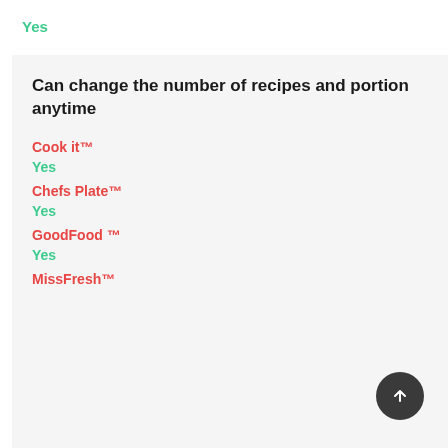Yes
Can change the number of recipes and portion anytime
Cook it™
Yes
Chefs Plate™
Yes
GoodFood ™
Yes
MissFresh™